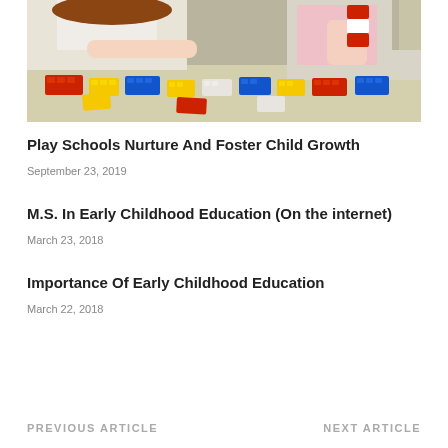[Figure (photo): Two females (an adult and a young child) playing with colorful building blocks/LEGO bricks on a table in a classroom setting.]
Play Schools Nurture And Foster Child Growth
September 23, 2019
M.S. In Early Childhood Education (On the internet)
March 23, 2018
Importance Of Early Childhood Education
March 22, 2018
PREVIOUS ARTICLE    NEXT ARTICLE